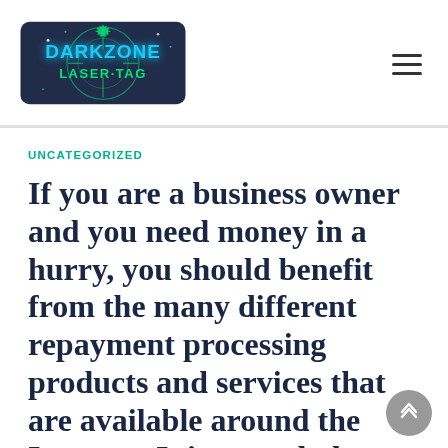DarkZone Laser Tag
UNCATEGORIZED
If you are a business owner and you need money in a hurry, you should benefit from the many different repayment processing products and services that are available around the Internet. It is a good plan to use the web for all of your financial needs, nevertheless